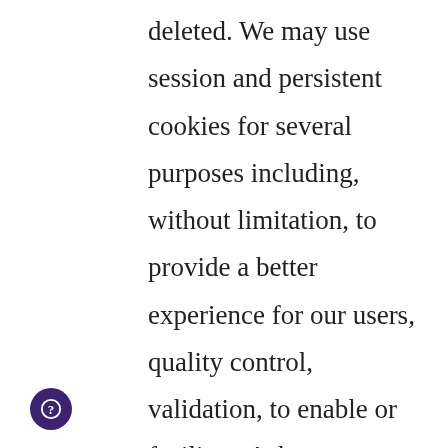deleted. We may use session and persistent cookies for several purposes including, without limitation, to provide a better experience for our users, quality control, validation, to enable or facilitate Askvert participation, tracking of answered Askverts or other completed actions, and for fraud detection and/or prevention. Cookies help us recognize your browser and capture and remember certain information that you previously shared with us, such as your setting preferences. Most browsers allow you to